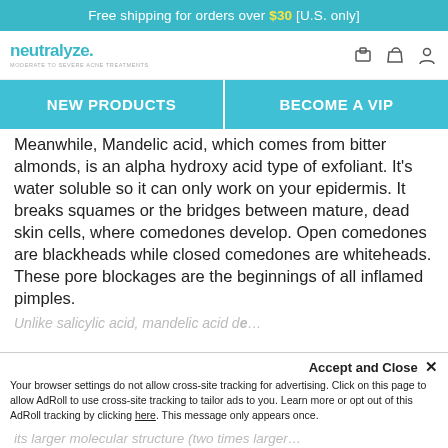Free shipping for orders over $30 [U.S. only]
[Figure (logo): Neutralyze logo with tagline 'MODERATE TO SEVERE ACNE TREATMENTS']
NEW PRODUCTS
BECOME A VIP
Meanwhile, Mandelic acid, which comes from bitter almonds, is an alpha hydroxy acid type of exfoliant. It’s water soluble so it can only work on your epidermis. It breaks squames or the bridges between mature, dead skin cells, where comedones develop. Open comedones are blackheads while closed comedones are whiteheads. These pore blockages are the beginnings of all inflamed pimples.
Unlike salicylic acid, mandelic acid d… its larger molecular structure (two times larger…
Accept and Close ×
Your browser settings do not allow cross-site tracking for advertising. Click on this page to allow AdRoll to use cross-site tracking to tailor ads to you. Learn more or opt out of this AdRoll tracking by clicking here. This message only appears once.